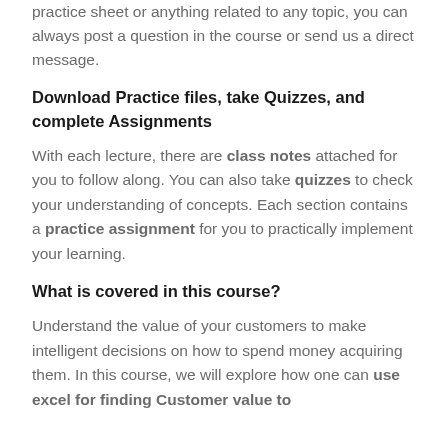practice sheet or anything related to any topic, you can always post a question in the course or send us a direct message.
Download Practice files, take Quizzes, and complete Assignments
With each lecture, there are class notes attached for you to follow along. You can also take quizzes to check your understanding of concepts. Each section contains a practice assignment for you to practically implement your learning.
What is covered in this course?
Understand the value of your customers to make intelligent decisions on how to spend money acquiring them. In this course, we will explore how one can use excel for finding Customer value to